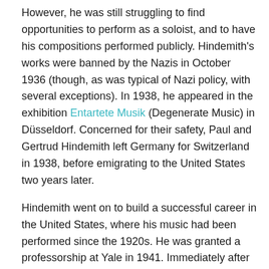However, he was still struggling to find opportunities to perform as a soloist, and to have his compositions performed publicly. Hindemith's works were banned by the Nazis in October 1936 (though, as was typical of Nazi policy, with several exceptions). In 1938, he appeared in the exhibition Entartete Musik (Degenerate Music) in Düsseldorf. Concerned for their safety, Paul and Gertrud Hindemith left Germany for Switzerland in 1938, before emigrating to the United States two years later.
Hindemith went on to build a successful career in the United States, where his music had been performed since the 1920s. He was granted a professorship at Yale in 1941. Immediately after the war, his music was considered to be among the rare contemporary German works free of Nazi influence. He experienced a boom in popularity, and was performed frequently on the stages of the occupied zones. He began his career as a conductor in 1947, having become a US citizen in 1946.